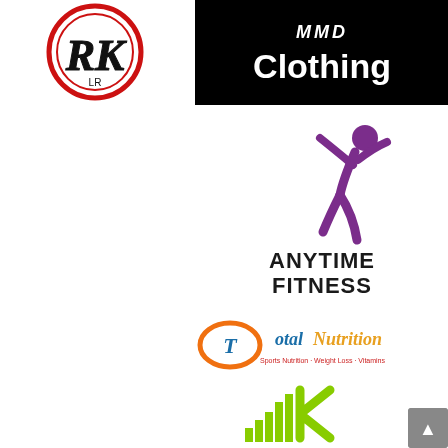[Figure (logo): RK circular logo with red circle border and stylized RK letters in black script]
[Figure (logo): MMD Clothing logo on black background with white bold text reading 'MMD Clothing']
[Figure (logo): Anytime Fitness logo with purple running figure icon above bold black text 'ANYTIME FITNESS']
[Figure (logo): Total Nutrition logo with orange swoosh and text 'Total Nutrition - Sports Nutrition - Weight Loss - Vitamins']
[Figure (logo): Green K logo with green bar chart elements and stylized K letterform]
[Figure (screenshot): Scroll to top button in bottom right corner]